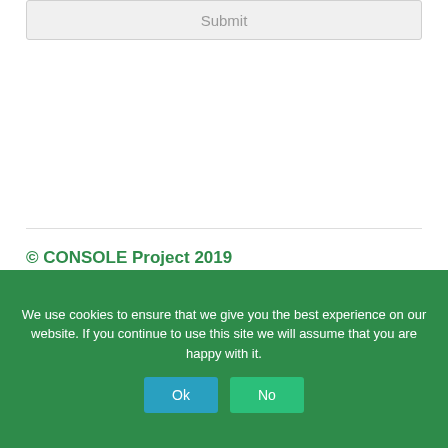[Figure (screenshot): A Submit button rendered as a grey rectangular box with 'Submit' text in grey]
© CONSOLE Project 2019
We use cookies to ensure that we give you the best experience on our website. If you continue to use this site we will assume that you are happy with it.